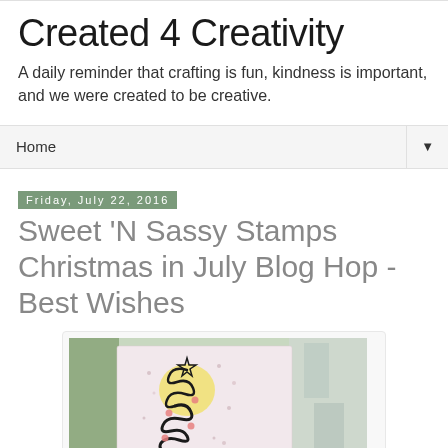Created 4 Creativity
A daily reminder that crafting is fun, kindness is important, and we were created to be creative.
Home ▼
Friday, July 22, 2016
Sweet 'N Sassy Stamps Christmas in July Blog Hop - Best Wishes
[Figure (photo): A handmade Christmas card with a minimalist black swirly Christmas tree on a light pink/white background with a yellow circle, a star on top, and small decorative dots scattered around. The card is displayed against a blurred background of greenery and windows.]